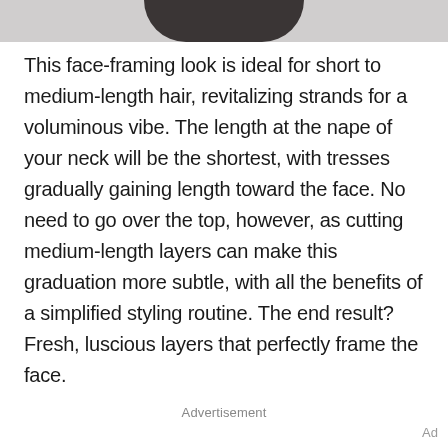[Figure (photo): Partial photo strip at top of page showing dark hair against a light background]
This face-framing look is ideal for short to medium-length hair, revitalizing strands for a voluminous vibe. The length at the nape of your neck will be the shortest, with tresses gradually gaining length toward the face. No need to go over the top, however, as cutting medium-length layers can make this graduation more subtle, with all the benefits of a simplified styling routine. The end result? Fresh, luscious layers that perfectly frame the face.
Advertisement
Ad